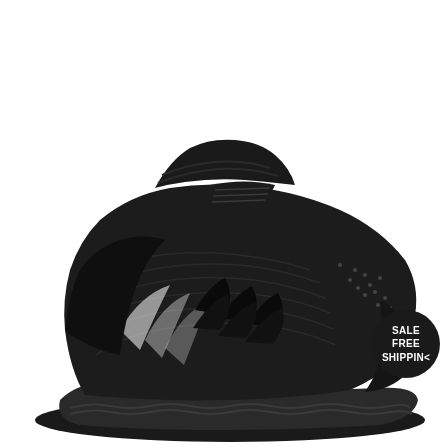US $191
[Figure (photo): Black Adidas UltraBoost Mid sneaker with knit upper and Boost sole, shown in side profile on white background. Dark circular badge in upper right area reads SALE FREE SHIPPING.]
SALE FREE SHIPPING